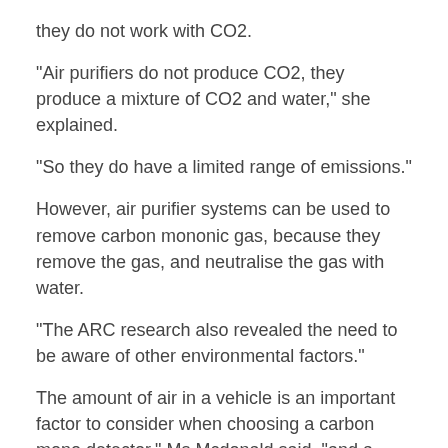they do not work with CO2.
“Air purifiers do not produce CO2, they produce a mixture of CO2 and water,” she explained.
“So they do have a limited range of emissions.”
However, air purifier systems can be used to remove carbon mononic gas, because they remove the gas, and neutralise the gas with water.
“The ARC research also revealed the need to be aware of other environmental factors.”
The amount of air in a vehicle is an important factor to consider when choosing a carbon mono detector,” Ms Mcdonald said, “and a vehicle can be made more aerodynamic by having a lower centre of gravity.
“Carbon Monoxide Indicator on a car seatThe research was carried out in the Queensland state of Victoria,”